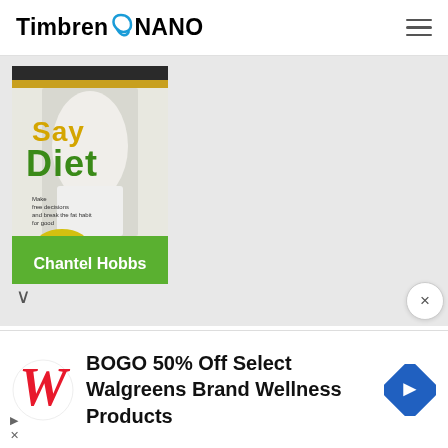Timbren NANO
[Figure (photo): Book cover of 'Say Diet' by Chantel Hobbs, showing a woman's torso in white clothing. Green and white cover design. Text reads 'Make free decisions and break the fat habit for good' and 'Chantel Hobbs'.]
Hobbs asserts that dieting is not an effective way to lose weight and she encourages readers instead to adopt a healthy lifestyle. In her book she provides diet...
[Figure (infographic): Walgreens advertisement banner: BOGO 50% Off Select Walgreens Brand Wellness Products. Shows Walgreens W logo in red cursive and a blue navigation/directions icon on the right.]